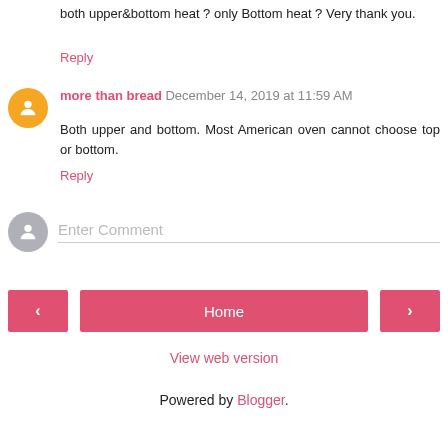both upper&bottom heat ? only Bottom heat ? Very thank you.
Reply
more than bread  December 14, 2019 at 11:59 AM
Both upper and bottom. Most American oven cannot choose top or bottom.
Reply
Enter Comment
Home
View web version
Powered by Blogger.